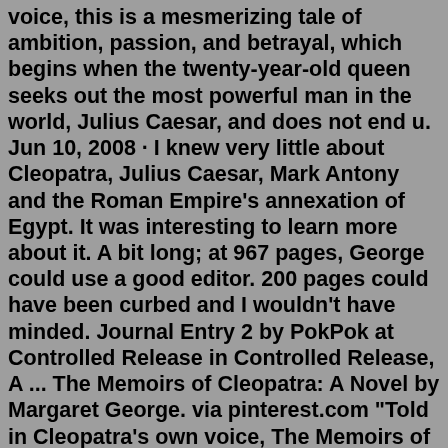voice, this is a mesmerizing tale of ambition, passion, and betrayal, which begins when the twenty-year-old queen seeks out the most powerful man in the world, Julius Caesar, and does not end u. Jun 10, 2008 · I knew very little about Cleopatra, Julius Caesar, Mark Antony and the Roman Empire's annexation of Egypt. It was interesting to learn more about it. A bit long; at 967 pages, George could use a good editor. 200 pages could have been curbed and I wouldn't have minded. Journal Entry 2 by PokPok at Controlled Release in Controlled Release, A ... The Memoirs of Cleopatra: A Novel by Margaret George. via pinterest.com "Told in Cleopatra's own voice, The Memoirs of Cleopatra is a mesmerizing tale of ambition, passion, and betrayal in the ancient Egyptian world, which begins when the twenty-year-old queen seeks out the most powerful man in the world, Julius Caesar, and does not end ...Told in Cleopatra's own voice, this is a mesmerizing tale of ambition, passion, and betrayl, which begins when the